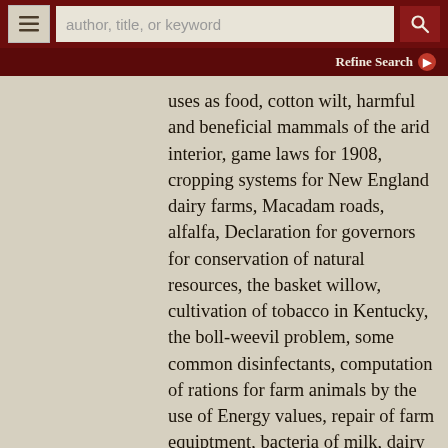author, title, or keyword | Refine Search
uses as food, cotton wilt, harmful and beneficial mammals of the arid interior, game laws for 1908, cropping systems for New England dairy farms, Macadam roads, alfalfa, Declaration for governors for conservation of natural resources, the basket willow, cultivation of tobacco in Kentucky, the boll-weevil problem, some common disinfectants, computation of rations for farm animals by the use of Energy values, repair of farm equiptment, bacteria of milk, dairy industry in south, dehorning of cattle, and experiment stations XLVII - XLIX. Bound in three quarter red leather over red cloth boards with gilt title "Farmers'